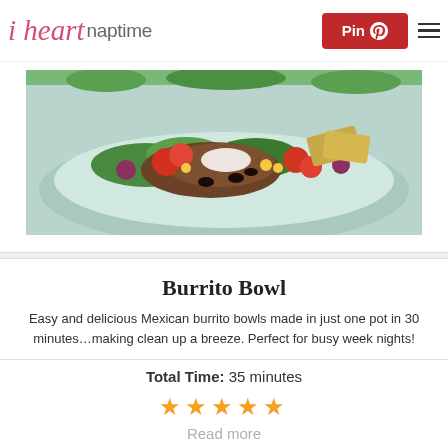i heart naptime | Pin | Menu
[Figure (photo): Photo of a burrito bowl with colorful toppings including tomatoes, black beans, lettuce, and other Mexican ingredients on a light teal plate]
Burrito Bowl
Easy and delicious Mexican burrito bowls made in just one pot in 30 minutes…making clean up a breeze. Perfect for busy week nights!
Total Time: 35 minutes
★★★★★
Read more